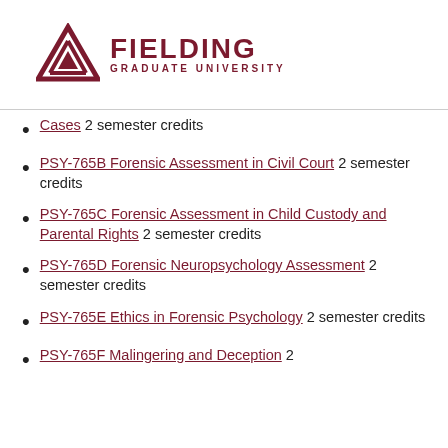Fielding Graduate University
Cases 2 semester credits
PSY-765B Forensic Assessment in Civil Court 2 semester credits
PSY-765C Forensic Assessment in Child Custody and Parental Rights 2 semester credits
PSY-765D Forensic Neuropsychology Assessment 2 semester credits
PSY-765E Ethics in Forensic Psychology 2 semester credits
PSY-765F Malingering and Deception 2